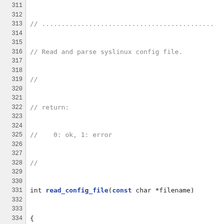Source code listing, lines 311-338, C code for read_config_file function